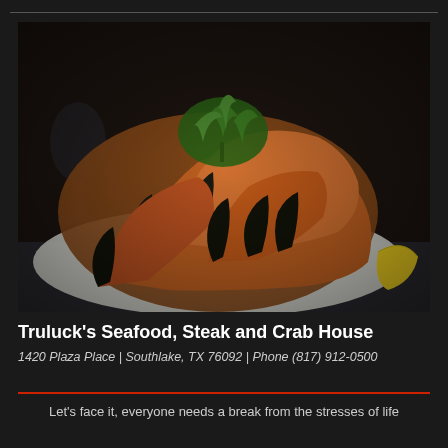[Figure (photo): A plate piled high with large stone crab claws with black-tipped shells, served on a white plate with a lemon wedge and garnished with green parsley on top. A wine glass and blue tablecloth are visible in the dark restaurant background.]
Truluck's Seafood, Steak and Crab House
1420 Plaza Place | Southlake, TX 76092 | Phone (817) 912-0500
Let's face it, everyone needs a break from the stresses of life